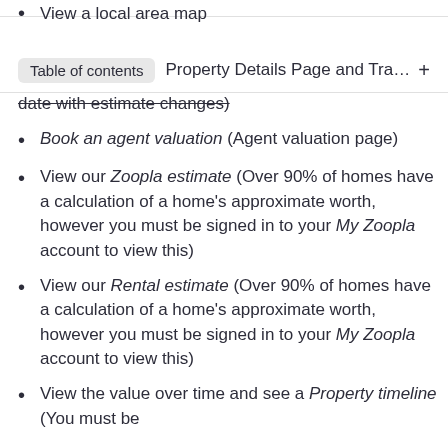View a local area map
Table of contents   Property Details Page and Track this prop… +
date with estimate changes)
Book an agent valuation (Agent valuation page)
View our Zoopla estimate (Over 90% of homes have a calculation of a home's approximate worth, however you must be signed in to your My Zoopla account to view this)
View our Rental estimate (Over 90% of homes have a calculation of a home's approximate worth, however you must be signed in to your My Zoopla account to view this)
View the value over time and see a Property timeline (You must be